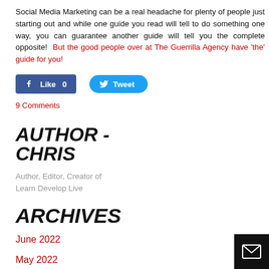Social Media Marketing can be a real headache for plenty of people just starting out and while one guide you read will tell to do something one way, you can guarantee another guide will tell you the complete opposite!  But the good people over at The Guerrilla Agency have 'the' guide for you!
[Figure (screenshot): Facebook Like button showing 0 likes and a Twitter Tweet button]
9 Comments
AUTHOR - CHRIS
Author, Editor, Creator of Learn Develop Live
ARCHIVES
June 2022
May 2022